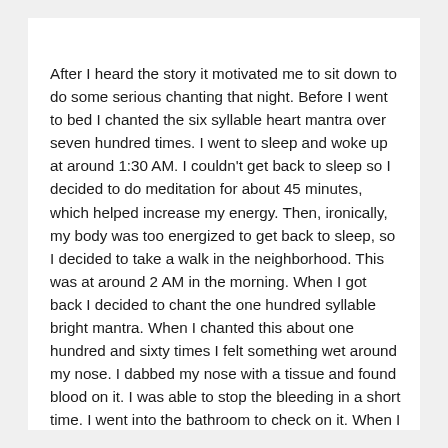After I heard the story it motivated me to sit down to do some serious chanting that night. Before I went to bed I chanted the six syllable heart mantra over seven hundred times. I went to sleep and woke up at around 1:30 AM. I couldn't get back to sleep so I decided to do meditation for about 45 minutes, which helped increase my energy. Then, ironically, my body was too energized to get back to sleep, so I decided to take a walk in the neighborhood. This was at around 2 AM in the morning. When I got back I decided to chant the one hundred syllable bright mantra. When I chanted this about one hundred and sixty times I felt something wet around my nose. I dabbed my nose with a tissue and found blood on it. I was able to stop the bleeding in a short time. I went into the bathroom to check on it. When I looked at the reflection of my left nostril in the mirror, I discovered that the growth had disappeared. At the place where the growth had been now had fresh healthy looking skin covering the area. I was overjoyed and couldn't wait to report this to Master T... this is a great story of...